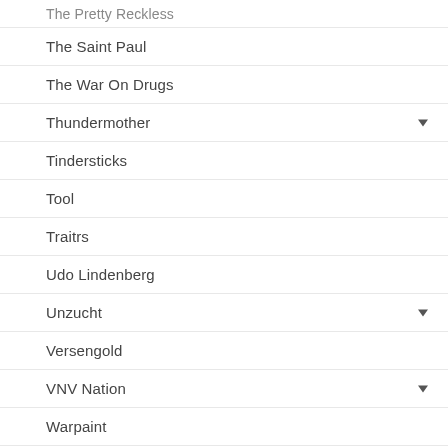The Pretty Reckless (truncated/partial)
The Saint Paul
The War On Drugs
Thundermother
Tindersticks
Tool
Traitrs
Udo Lindenberg
Unzucht
Versengold
VNV Nation
Warpaint
Weezer